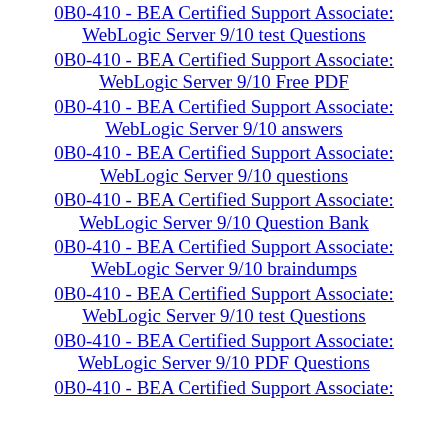0B0-410 - BEA Certified Support Associate: WebLogic Server 9/10 test Questions
0B0-410 - BEA Certified Support Associate: WebLogic Server 9/10 Free PDF
0B0-410 - BEA Certified Support Associate: WebLogic Server 9/10 answers
0B0-410 - BEA Certified Support Associate: WebLogic Server 9/10 questions
0B0-410 - BEA Certified Support Associate: WebLogic Server 9/10 Question Bank
0B0-410 - BEA Certified Support Associate: WebLogic Server 9/10 braindumps
0B0-410 - BEA Certified Support Associate: WebLogic Server 9/10 test Questions
0B0-410 - BEA Certified Support Associate: WebLogic Server 9/10 PDF Questions
0B0-410 - BEA Certified Support Associate: